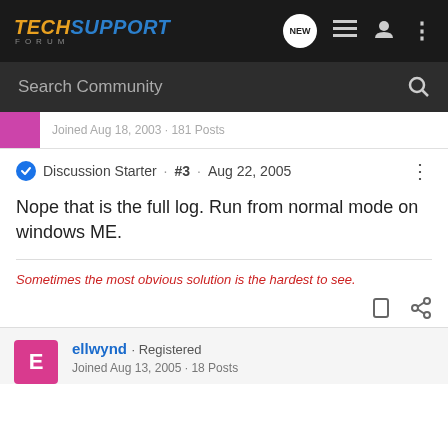TECHSUPPORT FORUM
Search Community
Joined Aug 18, 2003 · 181 Posts
Discussion Starter · #3 · Aug 22, 2005
Nope that is the full log. Run from normal mode on windows ME.
Sometimes the most obvious solution is the hardest to see.
ellwynd · Registered
Joined Aug 13, 2005 · 18 Posts